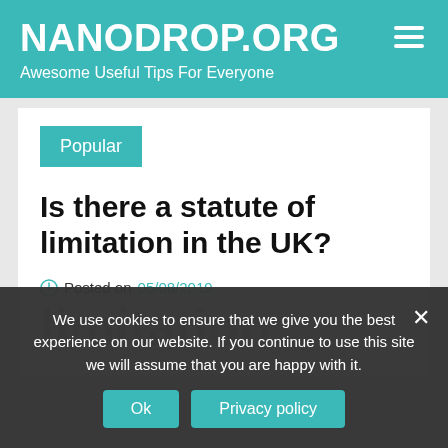NANODROP.ORG
Awesome Useful Tips For Everyone
Popular
Is there a statute of limitation in the UK?
Posted on 05/08/2019
We use cookies to ensure that we give you the best experience on our website. If you continue to use this site we will assume that you are happy with it.
Ok
Privacy policy